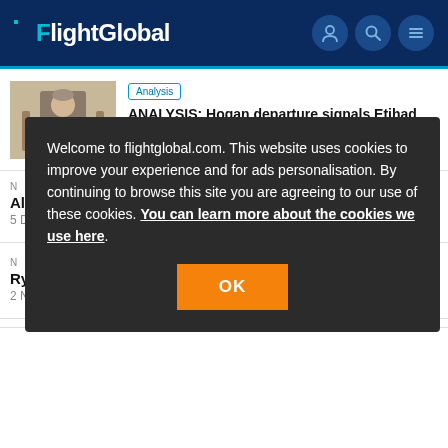FlightGlobal
Analysis
ANALYSIS: Hogan departure signals Etihad scrutiny of partnerships
24 Jan 2017
[Figure (photo): Thumbnail photo of a man in a suit seated]
Welcome to flightglobal.com. This website uses cookies to improve your experience and for ads personalisation. By continuing to browse this site you are agreeing to our use of these cookies. You can learn more about the cookies we use here.
OK